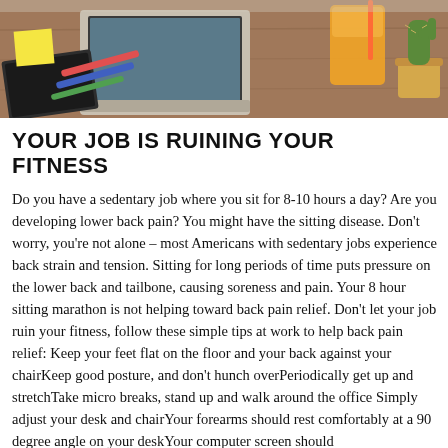[Figure (photo): A desk scene viewed from above showing a laptop, notebook, pens, sticky notes, an orange juice glass, and a small cactus plant on a wooden surface.]
YOUR JOB IS RUINING YOUR FITNESS
Do you have a sedentary job where you sit for 8-10 hours a day? Are you developing lower back pain? You might have the sitting disease. Don't worry, you're not alone – most Americans with sedentary jobs experience back strain and tension. Sitting for long periods of time puts pressure on the lower back and tailbone, causing soreness and pain. Your 8 hour sitting marathon is not helping toward back pain relief. Don't let your job ruin your fitness, follow these simple tips at work to help back pain relief: Keep your feet flat on the floor and your back against your chairKeep good posture, and don't hunch overPeriodically get up and stretchTake micro breaks, stand up and walk around the office Simply adjust your desk and chairYour forearms should rest comfortably at a 90 degree angle on your deskYour computer screen should